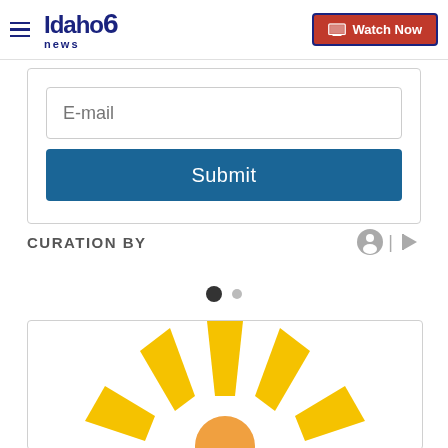Idaho News 6 | Watch Now
E-mail
Submit
CURATION BY
[Figure (illustration): Pagination dots: one large filled black dot and one smaller grey dot]
[Figure (logo): Partial sun/sunburst logo with yellow rays and orange center, visible at bottom of page]